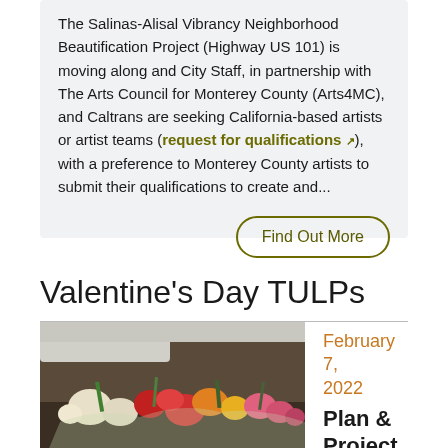The Salinas-Alisal Vibrancy Neighborhood Beautification Project (Highway US 101) is moving along and City Staff, in partnership with The Arts Council for Monterey County (Arts4MC), and Caltrans are seeking California-based artists or artist teams (request for qualifications), with a preference to Monterey County artists to submit their qualifications to create and...
Find Out More
Valentine's Day TULPs
February 7, 2022
Plan & Project
[Figure (photo): Colorful bunches of flowers (tulips and other mixed flowers in red, yellow, orange, pink, white) arranged on the ground near a vehicle]